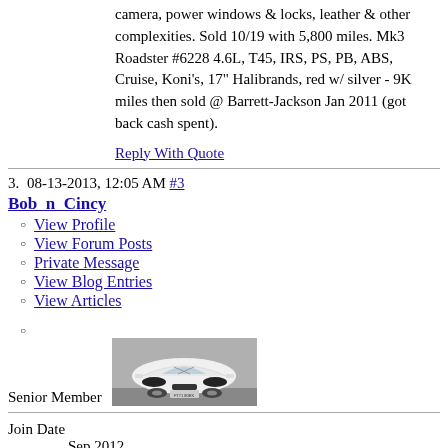camera, power windows & locks, leather & other complexities. Sold 10/19 with 5,800 miles. Mk3 Roadster #6228 4.6L, T45, IRS, PS, PB, ABS, Cruise, Koni's, 17" Halibrands, red w/ silver - 9K miles then sold @ Barrett-Jackson Jan 2011 (got back cash spent).
Reply With Quote
3.  08-13-2013, 12:05 AM  #3
Bob  n  Cincy
View Profile
View Forum Posts
Private Message
View Blog Entries
View Articles
[Figure (photo): Avatar image of a white roadster sports car viewed from the front]
Senior Member
Join Date
Sep 2012
Location